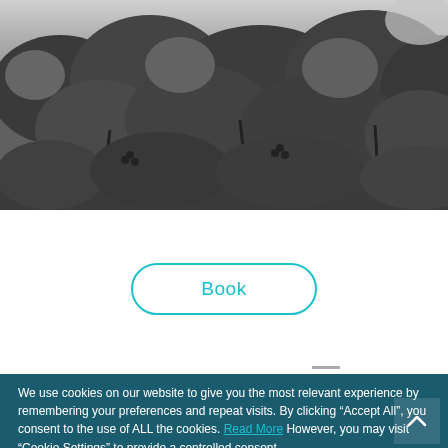[Figure (photo): Grayscale photograph of grape vine leaves and foliage]
Book
We use cookies on our website to give you the most relevant experience by remembering your preferences and repeat visits. By clicking “Accept All”, you consent to the use of ALL the cookies. Read More However, you may visit “Cookie Settings” to provide a controlled consent.
Cookie Settings
Accept All